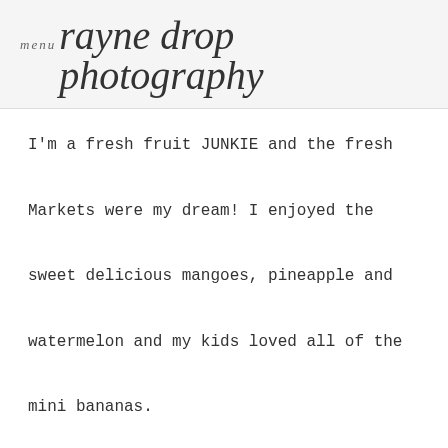menu rayne drop photography
I'm a fresh fruit JUNKIE and the fresh Markets were my dream! I enjoyed the sweet delicious mangoes, pineapple and watermelon and my kids loved all of the mini bananas.

We really enjoyed taking the taxi cabs that they call Petti Caps or Tricycles.

There was ALOT of mosquitoes – so fast we